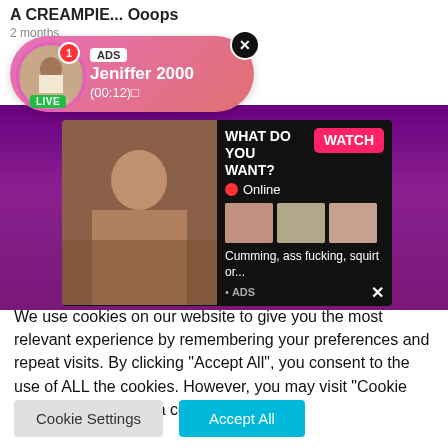A CREAMPIE... Ooops
2 months
[Figure (screenshot): Live popup ad showing avatar with LIVE badge, ADS tag, name Jeniffer 2000, time (00:12)]
[Figure (screenshot): Adult advertisement widget with WHAT DO YOU WANT? text, WATCH button, Online indicator, thumbnail images, and text: Cumming, ass fucking, squirt or... ADS]
We use cookies on our website to give you the most relevant experience by remembering your preferences and repeat visits. By clicking "Accept All", you consent to the use of ALL the cookies. However, you may visit "Cookie Settings" to provide a controlled consent.
Cookie Settings
Accept All